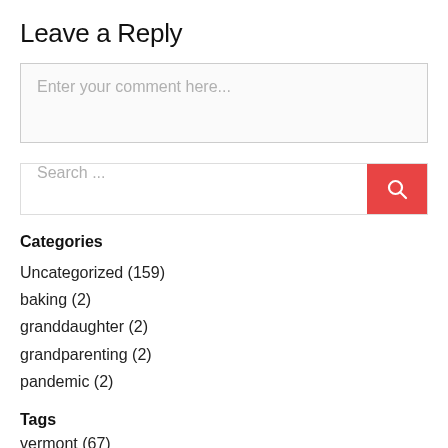Leave a Reply
[Figure (screenshot): Comment text area input box with placeholder text 'Enter your comment here...']
[Figure (screenshot): Search input field with placeholder 'Search ...' and a red search button with magnifying glass icon]
Categories
Uncategorized (159)
baking (2)
granddaughter (2)
grandparenting (2)
pandemic (2)
Tags
vermont (67)